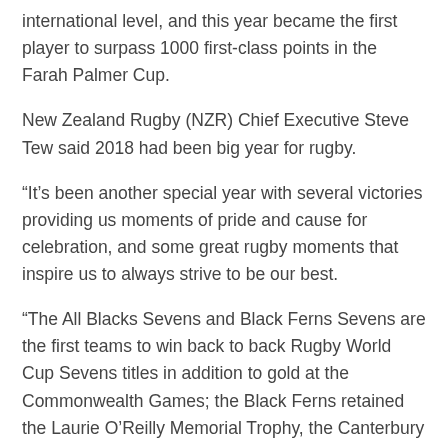international level, and this year became the first player to surpass 1000 first-class points in the Farah Palmer Cup.
New Zealand Rugby (NZR) Chief Executive Steve Tew said 2018 had been big year for rugby.
“It’s been another special year with several victories providing us moments of pride and cause for celebration, and some great rugby moments that inspire us to always strive to be our best.
“The All Blacks Sevens and Black Ferns Sevens are the first teams to win back to back Rugby World Cup Sevens titles in addition to gold at the Commonwealth Games; the Black Ferns retained the Laurie O’Reilly Memorial Trophy, the Canterbury women’s team secured back to back wins, along with the Crusaders winning the Investec Super Rugby Championship for a second year, Auckland won the Mitre 10 Cup for the first time since 2007, and the All Blacks have secured every trophy they have contested this year. These achievements show that New Zealand teams have been in dominant form.